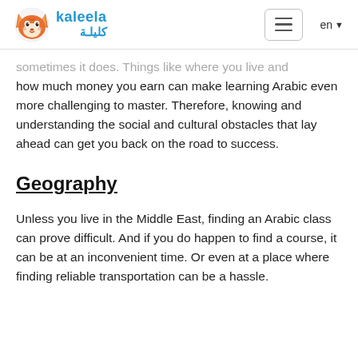kaleela / كليلـة — navigation bar with hamburger menu and language selector (en)
sometimes it does. Things like where you live and how much money you earn can make learning Arabic even more challenging to master. Therefore, knowing and understanding the social and cultural obstacles that lay ahead can get you back on the road to success.
Geography
Unless you live in the Middle East, finding an Arabic class can prove difficult. And if you do happen to find a course, it can be at an inconvenient time. Or even at a place where finding reliable transportation can be a hassle.